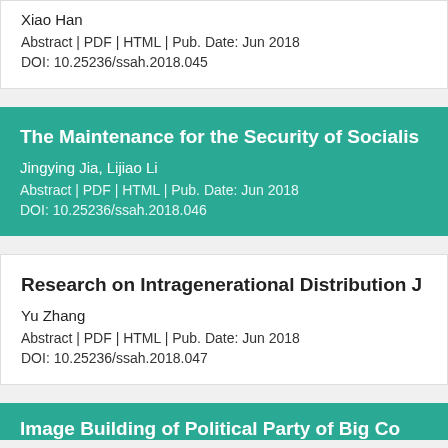Xiao Han
Abstract | PDF | HTML | Pub. Date: Jun 2018
DOI: 10.25236/ssah.2018.045
The Maintenance for the Security of Socialist...
Jingying Jia, Lijiao Li
Abstract | PDF | HTML | Pub. Date: Jun 2018
DOI: 10.25236/ssah.2018.046
Research on Intragenerational Distribution J...
Yu Zhang
Abstract | PDF | HTML | Pub. Date: Jun 2018
DOI: 10.25236/ssah.2018.047
Image Building of Political Party of Big Co...